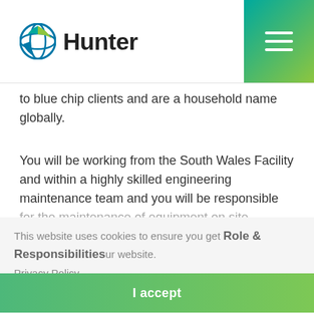Hunter
to blue chip clients and are a household name globally.
You will be working from the South Wales Facility and within a highly skilled engineering maintenance team and you will be responsible for the maintenance of equipment on site.
Role & Responsibilities
This website uses cookies to ensure you get the best experience on our website. Privacy Policy
-Electrical and Mechanical repair of production machinery
-Planned Preventative Maintenance –